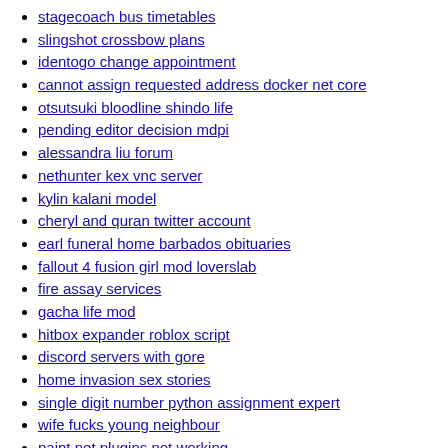stagecoach bus timetables
slingshot crossbow plans
identogo change appointment
cannot assign requested address docker net core
otsutsuki bloodline shindo life
pending editor decision mdpi
alessandra liu forum
nethunter kex vnc server
kylin kalani model
cheryl and quran twitter account
earl funeral home barbados obituaries
fallout 4 fusion girl mod loverslab
fire assay services
gacha life mod
hitbox expander roblox script
discord servers with gore
home invasion sex stories
single digit number python assignment expert
wife fucks young neighbour
paint net plugins not working
kenmore coldspot 106 parts manual
nsw2u retroarch
jesus heals object lesson
slasher x male reader
2pac full album download mp3 fakaza